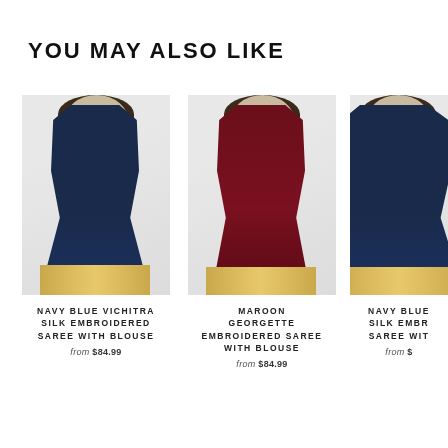YOU MAY ALSO LIKE
[Figure (photo): Woman wearing navy blue vichitra silk embroidered saree with gold border]
NAVY BLUE VICHITRA SILK EMBROIDERED SAREE WITH BLOUSE
from $84.99
[Figure (photo): Woman wearing maroon georgette embroidered saree with gold border]
MAROON GEORGETTE EMBROIDERED SAREE WITH BLOUSE
from $84.99
[Figure (photo): Woman wearing navy blue silk embroidered saree, partially cropped]
NAVY BLUE SILK EMBR... SAREE WIT...
from $...